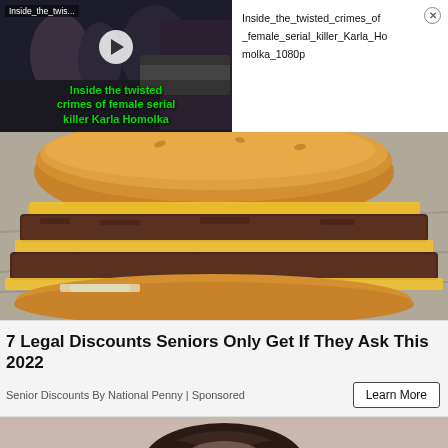[Figure (screenshot): Video thumbnail showing dark background with people near a vehicle; green text overlay reads 'Inside the twisted crimes of female serial killer Karla Homolka'; white play button circle; top label 'Inside_the_twis...']
Inside_the_twisted_crimes_of_female_serial_killer_Karla_Homolka_1080p
[Figure (photo): Close-up photo of a double cheeseburger with melted cheese on a foil wrapper background]
7 Legal Discounts Seniors Only Get If They Ask This 2022
Senior Discounts By National Penny | Sponsored
[Figure (photo): Partial view of a person's head/hair at the bottom of the page, cut off]